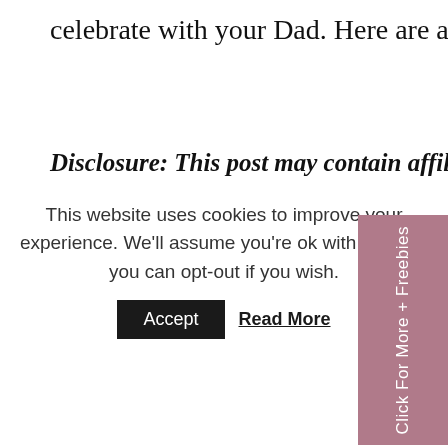celebrate with your Dad. Here are a few of our favorites.
Disclosure: This post may contain affiliate links, which means we may receive a commission if you click a link and purchase something that we have recommended. This commission comes at no additional cost to you, but will help us keep this site up and running and ad-free! Thank you for all the support. You're under no obligation to purchase anything and should only do so if the product will suit your needs.
Cook Together
True Assisting
This website uses cookies to improve your experience. We'll assume you're ok with this, but you can opt-out if you wish.
Accept   Read More